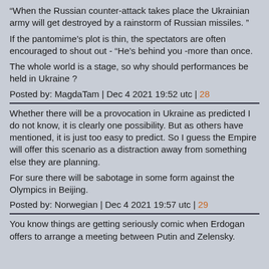“When the Russian counter-attack takes place the Ukrainian army will get destroyed by a rainstorm of Russian missiles. ”
If the pantomime’s plot is thin, the spectators are often encouraged to shout out - “He’s behind you -more than once.
The whole world is a stage, so why should performances be held in Ukraine ?
Posted by: MagdaTam | Dec 4 2021 19:52 utc | 28
Whether there will be a provocation in Ukraine as predicted I do not know, it is clearly one possibility. But as others have mentioned, it is just too easy to predict. So I guess the Empire will offer this scenario as a distraction away from something else they are planning.
For sure there will be sabotage in some form against the Olympics in Beijing.
Posted by: Norwegian | Dec 4 2021 19:57 utc | 29
You know things are getting seriously comic when Erdogan offers to arrange a meeting between Putin and Zelensky.